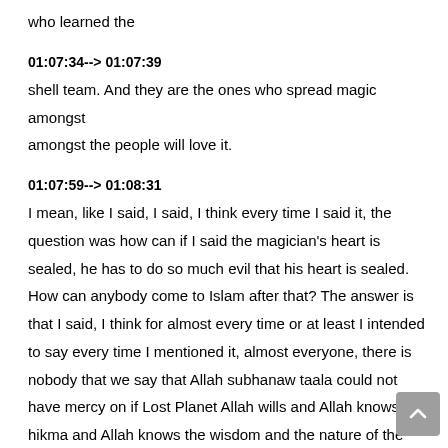who learned the
01:07:34--> 01:07:39
shell team. And they are the ones who spread magic amongst amongst the people will love it.
01:07:59--> 01:08:31
I mean, like I said, I said, I think every time I said it, the question was how can if I said the magician's heart is sealed, he has to do so much evil that his heart is sealed. How can anybody come to Islam after that? The answer is that I said, I think for almost every time or at least I intended to say every time I mentioned it, almost everyone, there is nobody that we say that Allah subhanaw taala could not have mercy on if Lost Planet Allah wills and Allah knows the hikma and Allah knows the wisdom and the nature of the people behind that. So